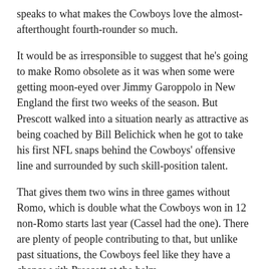speaks to what makes the Cowboys love the almost-afterthought fourth-rounder so much.
It would be as irresponsible to suggest that he's going to make Romo obsolete as it was when some were getting moon-eyed over Jimmy Garoppolo in New England the first two weeks of the season. But Prescott walked into a situation nearly as attractive as being coached by Bill Belichick when he got to take his first NFL snaps behind the Cowboys' offensive line and surrounded by such skill-position talent.
That gives them two wins in three games without Romo, which is double what the Cowboys won in 12 non-Romo starts last year (Cassel had the one). There are plenty of people contributing to that, but unlike past situations, the Cowboys feel like they have a chance with Prescott at the helm.
Here are five more things we learned during Sunday Night Football: